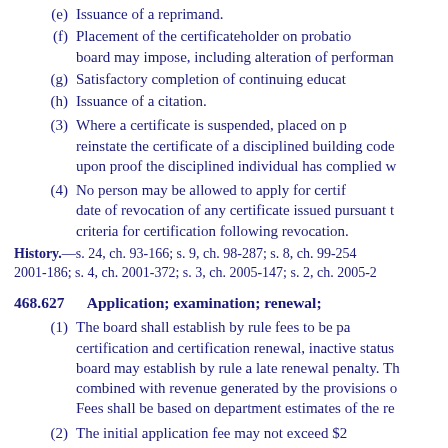(e) Issuance of a reprimand.
(f) Placement of the certificateholder on probatio board may impose, including alteration of performan
(g) Satisfactory completion of continuing educat
(h) Issuance of a citation.
(3) Where a certificate is suspended, placed on p reinstate the certificate of a disciplined building code upon proof the disciplined individual has complied w
(4) No person may be allowed to apply for certif date of revocation of any certificate issued pursuant t criteria for certification following revocation.
History.—s. 24, ch. 93-166; s. 9, ch. 98-287; s. 8, ch. 99-254 2001-186; s. 4, ch. 2001-372; s. 3, ch. 2005-147; s. 2, ch. 2005-2
468.627 Application; examination; renewal;
(1) The board shall establish by rule fees to be pa certification and certification renewal, inactive status board may establish by rule a late renewal penalty. Th combined with revenue generated by the provisions o Fees shall be based on department estimates of the re
(2) The initial application fee may not exceed $2 building code inspectors.
(3) The initial examination fee may not exceed $ building code inspectors.